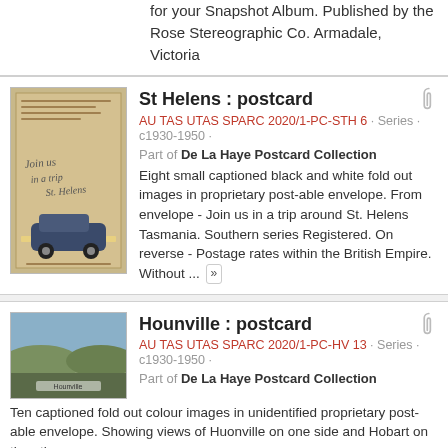for your Snapshot Album. Published by the Rose Stereographic Co. Armadale, Victoria
St Helens : postcard
AU TAS UTAS SPARC 2020/1-PC-STH 6 · Series · c1930-1950 · Part of De La Haye Postcard Collection
Eight small captioned black and white fold out images in proprietary post-able envelope. From envelope - Join us in a trip around St. Helens Tasmania. Southern series Registered. On reverse - Postage rates within the British Empire. Without ...
Hounville : postcard
AU TAS UTAS SPARC 2020/1-PC-HV 13 · Series · c1930-1950 · Part of De La Haye Postcard Collection
Ten captioned fold out colour images in unidentified proprietary post-able envelope. Showing views of Huonville on one side and Hobart on the other. From envelope : A Colorful Souvenir of